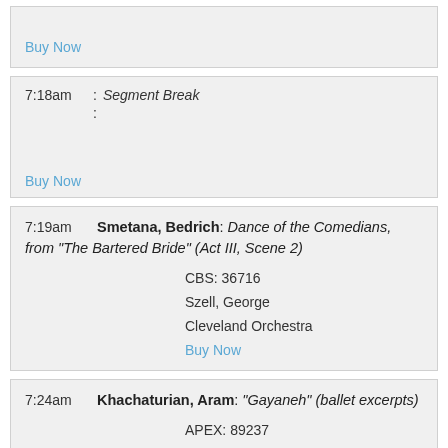Buy Now
7:18am : Segment Break
:
Buy Now
7:19am Smetana, Bedrich: Dance of the Comedians, from "The Bartered Bride" (Act III, Scene 2)
CBS: 36716
Szell, George
Cleveland Orchestra
Buy Now
7:24am Khachaturian, Aram: "Gayaneh" (ballet excerpts)
APEX: 89237
Lazarev, Alexander